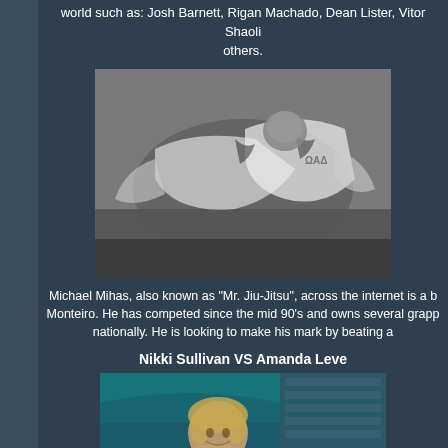world such as: Josh Barnett, Rigan Machado, Dean Lister, Vitor Shaoli others.
[Figure (photo): Black and white photo of two practitioners grappling/sparring in jiu-jitsu, wearing white gis, on a mat. Photo credit: KMS PHOTOGRAPHY.]
Michael Mihas, also known as "Mr. Jiu-Jitsu", across the internet is a b Monteiro. He has competed since the mid 90's and owns several grapp nationally. He is looking to make his mark by beating a
Nikki Sullivan VS Amanda Leve
[Figure (photo): Color photo of a smiling woman (Nikki Sullivan or Amanda Leve) with blonde hair, wearing a light blue top, in an arena setting with bleachers visible in the background. Photo credit: © 2013 & AP Sports Photography.]